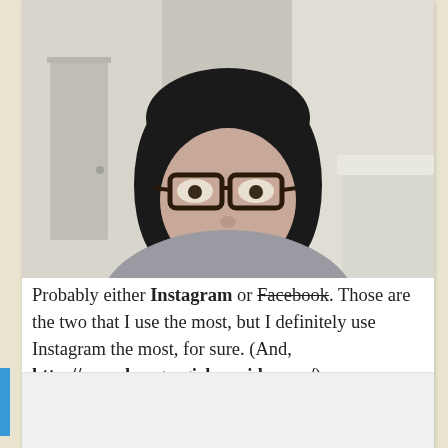[Figure (photo): A woman with short black hair and bangs wearing glasses, smiling, photographed from the shoulders up in what appears to be a bedroom setting.]
Probably either Instagram or Facebook. Those are the two that I use the most, but I definitely use Instagram the most, for sure. (And, http://www.hungrygirlporvida.com/)
Filed Under: Podcast
Tagged With: A Cozy Kitchen, Adrianna Adarme, bibimbap Cherry Bomb, Cindy Ensley, Food Blog, Food Blogger, Food52